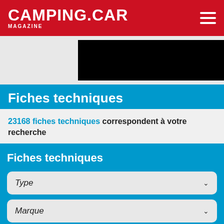CAMPING.CAR MAGAZINE
[Figure (photo): Partially visible image with a black rectangle/redacted area, shown against a light grey background]
Fiches techniques
23168 fiches techniques correspondent à votre recherche
Fiches techniques
Type
Marque
Nombre de couchages